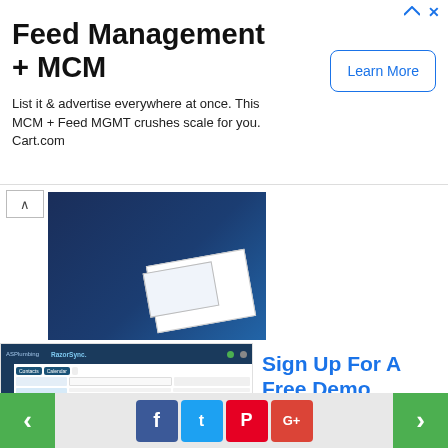[Figure (screenshot): Top banner advertisement for Cart.com Feed Management + MCM with Learn More button]
[Figure (screenshot): Collapsed blue image strip with white paper/document element]
[Figure (screenshot): RazorSync software interface screenshot showing field service management screens]
Sign Up For A Free Demo
Ad RazorSync
[Figure (screenshot): Cart.com advertisement image with hexagon logo and cart.com text on blue gradient background]
List and Advertise Everywhere
Ad Cart.com
[Figure (screenshot): Bottom navigation bar with green left/right arrows and social media share buttons for Facebook, Twitter, Pinterest, Google+]